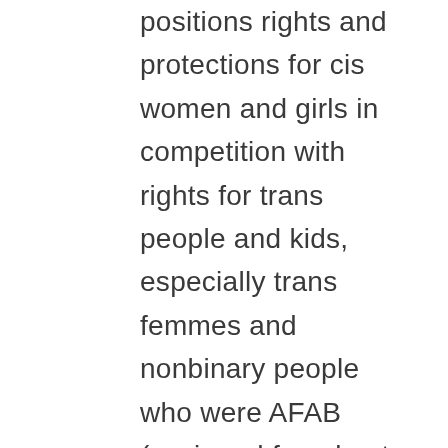positions rights and protections for cis women and girls in competition with rights for trans people and kids, especially trans femmes and nonbinary people who were AFAB (assigned female at birth). Trans